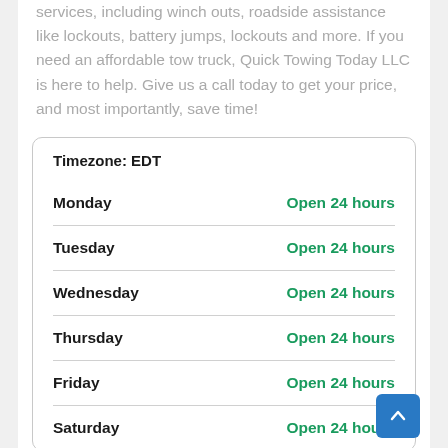services, including winch outs, roadside assistance like lockouts, battery jumps, lockouts and more. If you need an affordable tow truck, Quick Towing Today LLC is here to help. Give us a call today to get your price, and most importantly, save time!
| Day | Hours |
| --- | --- |
| Monday | Open 24 hours |
| Tuesday | Open 24 hours |
| Wednesday | Open 24 hours |
| Thursday | Open 24 hours |
| Friday | Open 24 hours |
| Saturday | Open 24 hours |